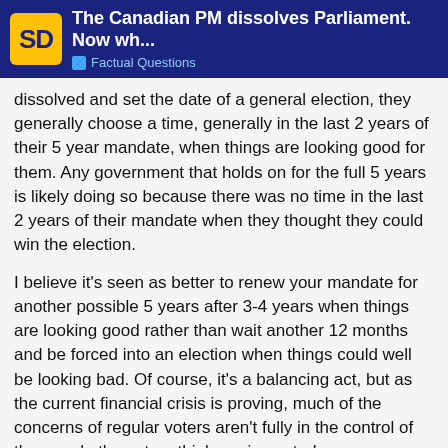The Canadian PM dissolves Parliament. Now wh... | Factual Questions
dissolved and set the date of a general election, they generally choose a time, generally in the last 2 years of their 5 year mandate, when things are looking good for them. Any government that holds on for the full 5 years is likely doing so because there was no time in the last 2 years of their mandate when they thought they could win the election.
I believe it's seen as better to renew your mandate for another possible 5 years after 3-4 years when things are looking good rather than wait another 12 months and be forced into an election when things could well be looking bad. Of course, it's a balancing act, but as the current financial crisis is proving, much of the concerns of regular voters aren't fully in the control of the people the voters think are in control.
As in Canada, the average time between general elections in around 4 years.
OB
11 / 42